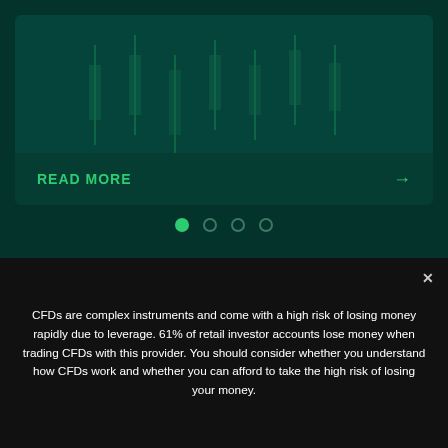[Figure (screenshot): Dark green trading/finance card with faint candlestick or chart lines in background]
READ MORE →
[Figure (other): Pagination indicator dots: first dot active (green filled), three inactive dots]
CFDs are complex instruments and come with a high risk of losing money rapidly due to leverage. 61% of retail investor accounts lose money when trading CFDs with this provider. You should consider whether you understand how CFDs work and whether you can afford to take the high risk of losing your money.